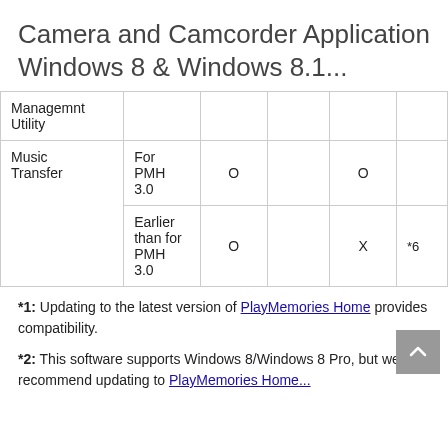Camera and Camcorder Application Windows 8 & Windows 8.1...
| Managemnt Utility |  |  |  |  |  |
| Music Transfer | For PMH 3.0 | O |  | O |  |
| Music Transfer | Earlier than for PMH 3.0 | O |  | X | *6 |
*1: Updating to the latest version of PlayMemories Home provides compatibility.
*2: This software supports Windows 8/Windows 8 Pro, but we recommend updating to PlayMemories Home...